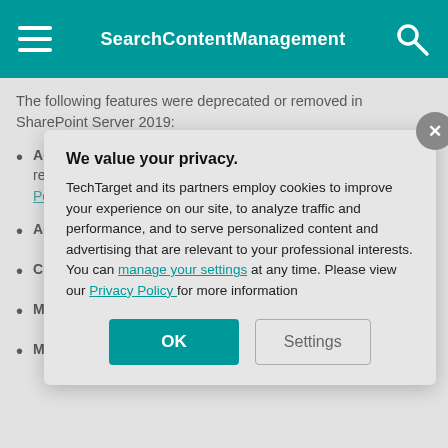SearchContentManagement
The following features were deprecated or removed in SharePoint Server 2019:
Access Services 2010 and 2013. These will be deprecated but remain supported. Microsoft recommends exploring Microsoft PowerApps and Power Automate.
Aggregated Newsfeed. Removed in SharePoint 2019. Replaced by Microsoft Teams Newsfeed. Microsoft Teams
Custom help. SharePoint 2019 removed legacy help engine. Replaced by customer help in Microsoft 365.
Machine Translation. Machine Translation deprecated and replaced by Multilingual capabilities in Microsoft 365 for users.
Multi-tenancy
We value your privacy. TechTarget and its partners employ cookies to improve your experience on our site, to analyze traffic and performance, and to serve personalized content and advertising that are relevant to your professional interests. You can manage your settings at any time. Please view our Privacy Policy for more information